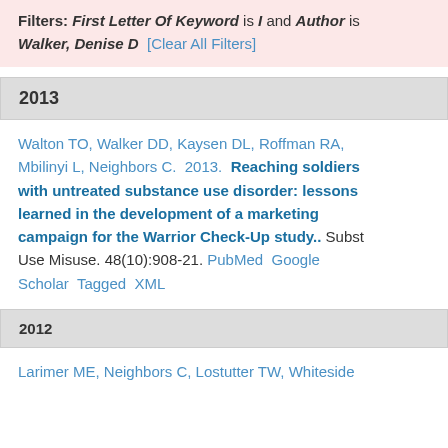Filters: First Letter Of Keyword is I and Author is Walker, Denise D [Clear All Filters]
2013
Walton TO, Walker DD, Kaysen DL, Roffman RA, Mbilinyi L, Neighbors C. 2013. Reaching soldiers with untreated substance use disorder: lessons learned in the development of a marketing campaign for the Warrior Check-Up study.. Subst Use Misuse. 48(10):908-21. PubMed Google Scholar Tagged XML
2012
Larimer ME, Neighbors C, Lostutter TW, Whiteside